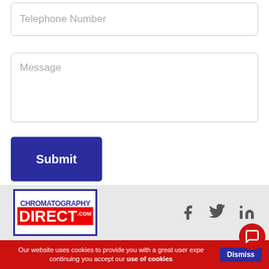[Figure (screenshot): Telephone Number input field — empty text input box with placeholder text]
[Figure (screenshot): Message textarea — empty multi-line input box with placeholder text]
[Figure (screenshot): Submit button — dark blue/indigo rounded rectangle button with white bold text]
[Figure (logo): Chromatography Direct .com logo — blue border box, blue bold CHROMATOGRAPHY text on top, red background DIRECT text below with .com superscript]
[Figure (infographic): Social media icons: Facebook f, Twitter bird, LinkedIn in]
Our website uses cookies to provide you with a great user expe continuing you accept our use of cookies
[Figure (screenshot): Dismiss button — dark blue button with white Dismiss text]
[Figure (screenshot): Chat bubble icon — circular red button with white speech bubble icon]